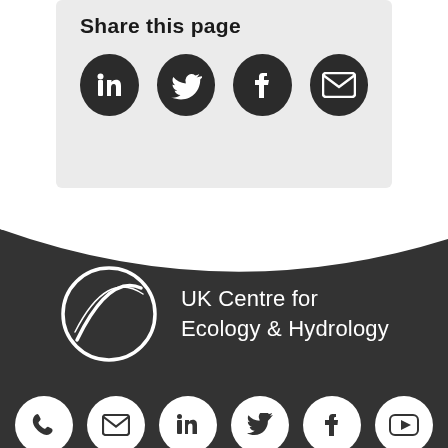Share this page
[Figure (illustration): Four dark circular social media share icons: LinkedIn, Twitter, Facebook, Email]
[Figure (logo): UK Centre for Ecology & Hydrology logo with circular emblem on dark background]
[Figure (illustration): Six white circular social media icons on dark background: Phone, Email, LinkedIn, Twitter, Facebook, YouTube]